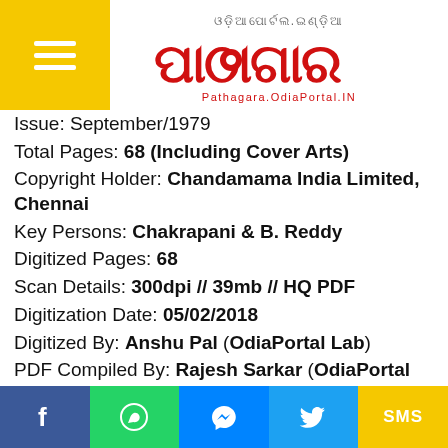[Figure (logo): Pathagara OdiaPortal logo with Odia script text and red stylized lettering]
Issue: September/1979
Total Pages: 68 (Including Cover Arts)
Copyright Holder: Chandamama India Limited, Chennai
Key Persons: Chakrapani & B. Reddy
Digitized Pages: 68
Scan Details: 300dpi // 39mb // HQ PDF
Digitization Date: 05/02/2018
Digitized By: Anshu Pal (OdiaPortal Lab)
PDF Compiled By: Rajesh Sarkar (OdiaPortal Lab)
Total Janhamamu Digitized By OdiaPortal Lab:
Facebook | WhatsApp | Messenger | Twitter | SMS